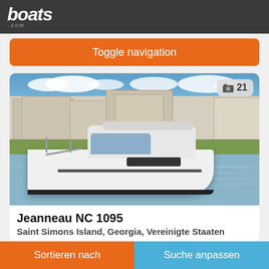boats.com
Toggle navigation
[Figure (photo): A white Jeanneau NC 1095 motorboat cruising on a calm waterway with coastal residential buildings in the background under a blue sky with clouds. Photo count badge showing 21 photos.]
Jeanneau NC 1095
Saint Simons Island, Georgia, Vereinigte Staaten
Sortieren nach | Suche anpassen